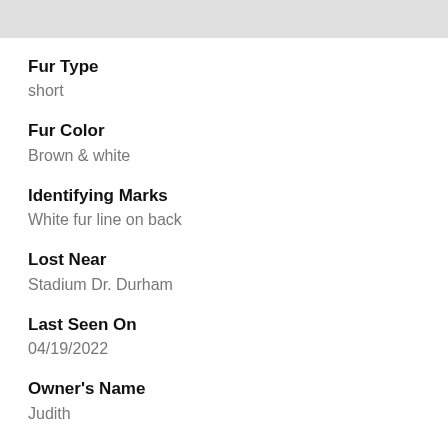[Figure (photo): Gray/light image placeholder at top of page]
Fur Type
short
Fur Color
Brown & white
Identifying Marks
White fur line on back
Lost Near
Stadium Dr. Durham
Last Seen On
04/19/2022
Owner's Name
Judith